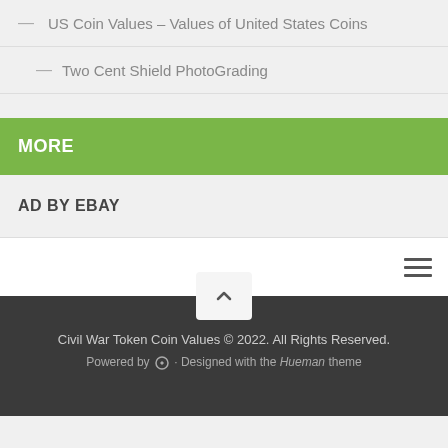— US Coin Values – Values of United States Coins
— Two Cent Shield PhotoGrading
MORE
AD BY EBAY
Civil War Token Coin Values © 2022. All Rights Reserved.
Powered by — Designed with the Hueman theme